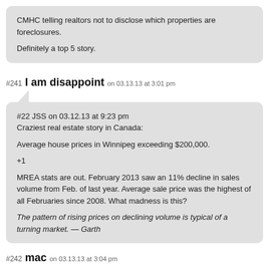CMHC telling realtors not to disclose which properties are foreclosures.

Definitely a top 5 story.
#241  I am disappoint  on 03.13.13 at 3:01 pm
#22 JSS on 03.12.13 at 9:23 pm
Craziest real estate story in Canada:

Average house prices in Winnipeg exceeding $200,000.

+1

MREA stats are out. February 2013 saw an 11% decline in sales volume from Feb. of last year. Average sale price was the highest of all Februaries since 2008. What madness is this?

The pattern of rising prices on declining volume is typical of a turning market. — Garth
#242  mac  on 03.13.13 at 3:04 pm